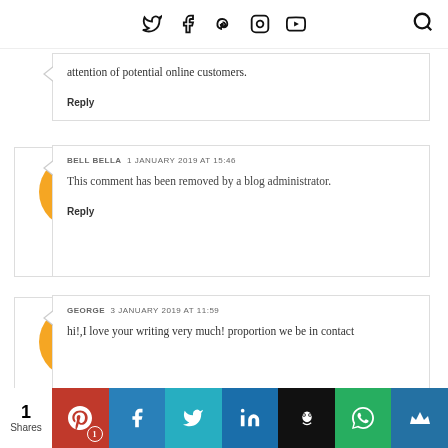Twitter Facebook Pinterest Instagram YouTube [search]
attention of potential online customers.
Reply
BELL BELLA  1 JANUARY 2019 AT 15:46
This comment has been removed by a blog administrator.
Reply
GEORGE  3 JANUARY 2019 AT 11:59
hi!,I love your writing very much! proportion we be in contact
1 Shares | Pinterest 1 | Facebook | Twitter | LinkedIn | Buffer | WhatsApp | Crown